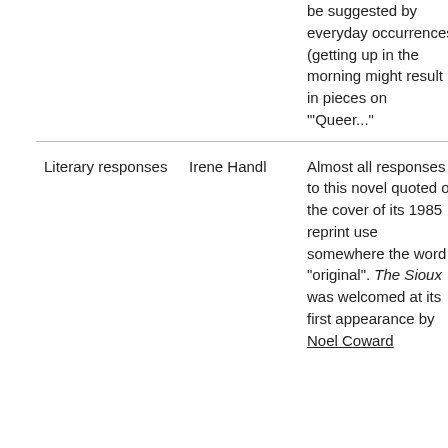|  |  | be suggested by everyday occurrences (getting up in the morning might result in pieces on "'Queer..." |
| Literary responses | Irene Handl | Almost all responses to this novel quoted on the cover of its 1985 reprint use somewhere the word "original". The Sioux was welcomed at its first appearance by Noel Coward |